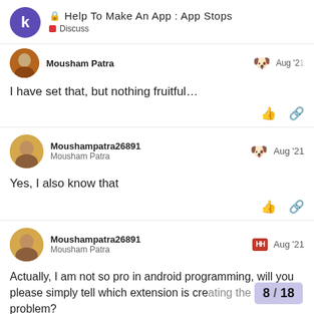Help To Make An App : App Stops — Discuss
Mousham Patra
I have set that, but nothing fruitful...
Moushampatra26891
Mousham Patra — Aug '21
Yes, I also know that
Moushampatra26891
Mousham Patra — Aug '21
Actually, I am not so pro in android programming, will you please simply tell which extension is cre... problem?
8 / 18